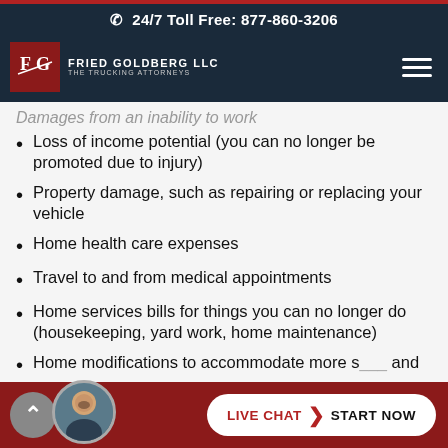24/7 Toll Free: 877-860-3206
[Figure (logo): Fried Goldberg LLC - The Trucking Attorneys logo with FG monogram in red box]
Damages from an inability to work
Loss of income potential (you can no longer be promoted due to injury)
Property damage, such as repairing or replacing your vehicle
Home health care expenses
Travel to and from medical appointments
Home services bills for things you can no longer do (housekeeping, yard work, home maintenance)
Home modifications to accommodate more severe and permanent disabilities
LIVE CHAT  START NOW